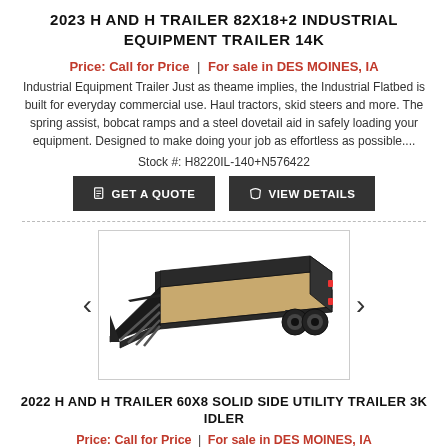2023 H AND H TRAILER 82X18+2 INDUSTRIAL EQUIPMENT TRAILER 14K
Price: Call for Price | For sale in DES MOINES, IA
Industrial Equipment Trailer Just as theame implies, the Industrial Flatbed is built for everyday commercial use. Haul tractors, skid steers and more. The spring assist, bobcat ramps and a steel dovetail aid in safely loading your equipment. Designed to make doing your job as effortless as possible....
Stock #: H8220IL-140+N576422
[Figure (photo): Photo of a black flatbed industrial equipment trailer with wooden deck and ramp gates deployed, shown at an angle.]
2022 H AND H TRAILER 60X8 SOLID SIDE UTILITY TRAILER 3K IDLER
Price: Call for Price | For sale in DES MOINES, IA